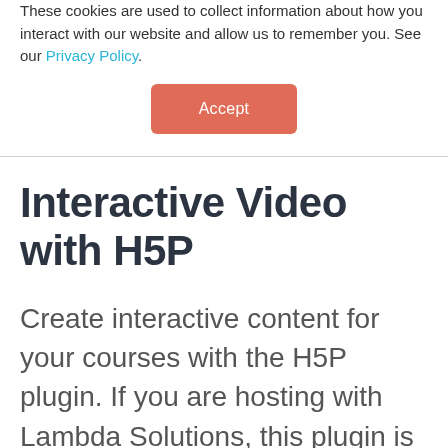These cookies are used to collect information about how you interact with our website and allow us to remember you. See our Privacy Policy.
[Figure (other): Orange/salmon-colored 'Accept' button centered on the page]
Interactive Video with H5P
Create interactive content for your courses with the H5P plugin.  If you are hosting with Lambda Solutions, this plugin is already installed in your LMS.